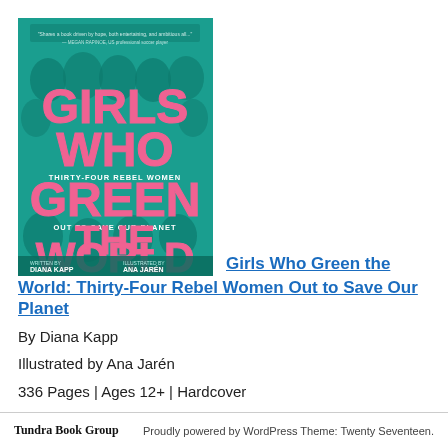[Figure (illustration): Book cover of 'Girls Who Green the World: Thirty-Four Rebel Women Out to Save Our Planet' written by Diana Kapp, illustrated by Ana Jarén. Teal/green background with collage of women's faces and large pink block letters.]
Girls Who Green the World: Thirty-Four Rebel Women Out to Save Our Planet
By Diana Kapp
Illustrated by Ana Jarén
336 Pages | Ages 12+ | Hardcover
ISBN 9780593429054 | Delacorte BFYR
Tundra Book Group   Proudly powered by WordPress Theme: Twenty Seventeen.